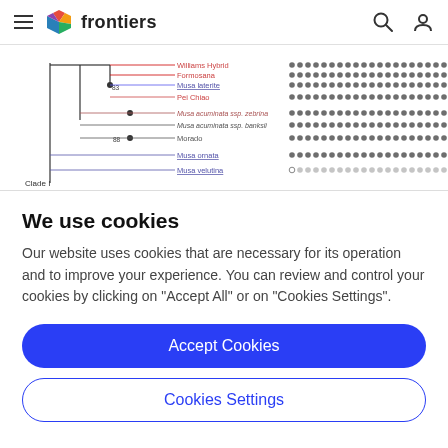frontiers
[Figure (other): Partial phylogenetic tree showing banana/Musa species: Williams Hybrid, Formosana, Musa laterite, Pei Chiao, Musa acuminata ssp. zebrina, Musa acuminata ssp. banksii, Morado, Musa ornata, Musa velutina with dot matrix pattern to the right. Clade I label visible.]
We use cookies
Our website uses cookies that are necessary for its operation and to improve your experience. You can review and control your cookies by clicking on "Accept All" or on "Cookies Settings".
Accept Cookies
Cookies Settings